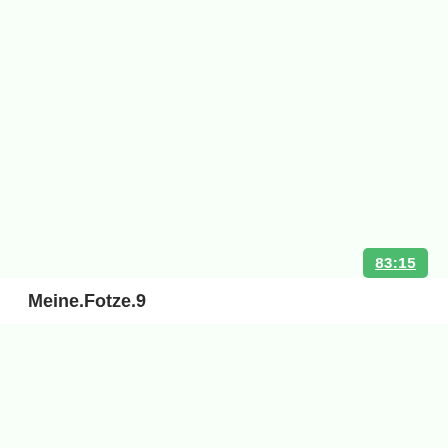[Figure (screenshot): A mostly blank white/light-green panel area above a video thumbnail or media list item, with a green badge showing time code '83:15' in the upper right area of the panel.]
Meine.Fotze.9